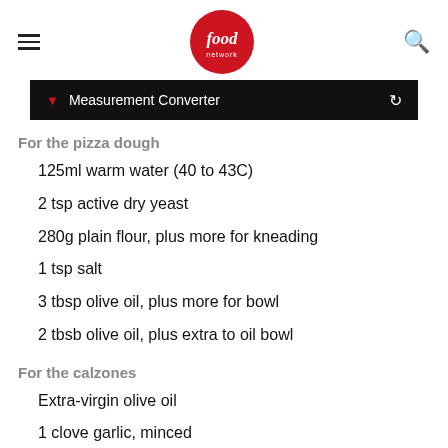food network
Measurement Converter
For the pizza dough
125ml warm water (40 to 43C)
2 tsp active dry yeast
280g plain flour, plus more for kneading
1 tsp salt
3 tbsp olive oil, plus more for bowl
2 tbsb olive oil, plus extra to oil bowl
For the calzones
Extra-virgin olive oil
1 clove garlic, minced